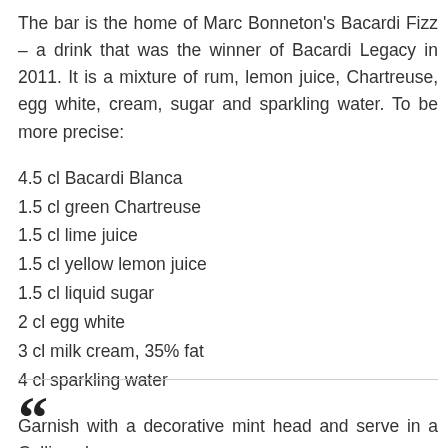The bar is the home of Marc Bonneton's Bacardi Fizz – a drink that was the winner of Bacardi Legacy in 2011. It is a mixture of rum, lemon juice, Chartreuse, egg white, cream, sugar and sparkling water. To be more precise:
4.5 cl Bacardi Blanca
1.5 cl green Chartreuse
1.5 cl lime juice
1.5 cl yellow lemon juice
1.5 cl liquid sugar
2 cl egg white
3 cl milk cream, 35% fat
4 cl sparkling water
Garnish with a decorative mint head and serve in a Collins glass